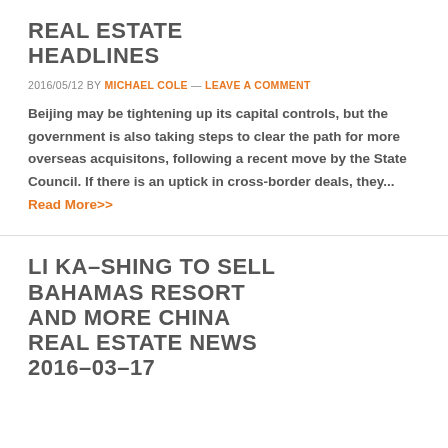REAL ESTATE HEADLINES
2016/05/12 BY MICHAEL COLE — LEAVE A COMMENT
Beijing may be tightening up its capital controls, but the government is also taking steps to clear the path for more overseas acquisitons, following a recent move by the State Council. If there is an uptick in cross-border deals, they... Read More>>
LI KA–SHING TO SELL BAHAMAS RESORT AND MORE CHINA REAL ESTATE NEWS 2016-03-17